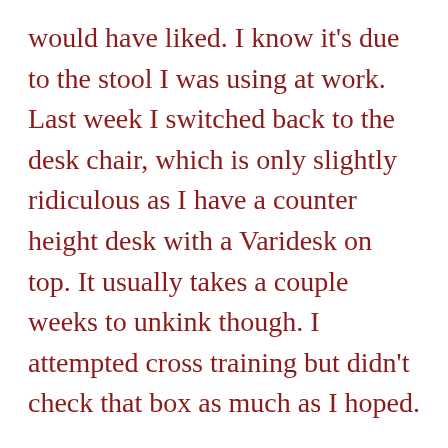would have liked. I know it's due to the stool I was using at work. Last week I switched back to the desk chair, which is only slightly ridiculous as I have a counter height desk with a Varidesk on top. It usually takes a couple weeks to unkink though. I attempted cross training but didn't check that box as much as I hoped.

It also rained quite frequently which put a damper on some of my runs.

I did sign up for 2 more races though. I also finally got my tires rotated. Oh and I